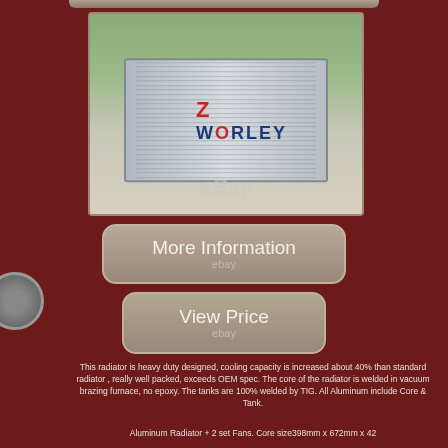[Figure (photo): Photo of an aluminum radiator held by a person outdoors, with WORLEY brand logo on the radiator core. eBay watermark visible.]
More Information
ebay
View Price
ebay
This radiator is heavy duty designed, cooling capacity is increased about 40% than standard radiator , really well packed, exceeds OEM spec. The core of the radiator is welded in vacuum brazing furnace, no epoxy. The tanks are 100% welded by TIG. All Aluminum include Core & Tank.
Aluminum Radiator + 2 set Fans. Core size398mm x 672mm x 42